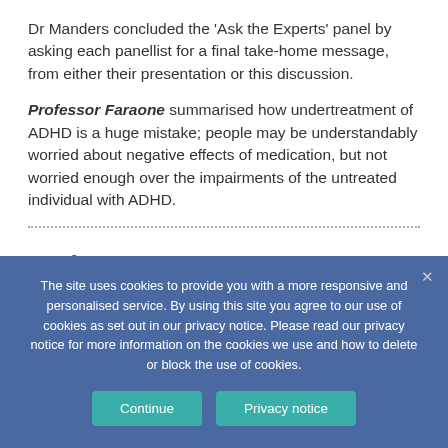Dr Manders concluded the 'Ask the Experts' panel by asking each panellist for a final take-home message, from either their presentation or this discussion.
Professor Faraone summarised how undertreatment of ADHD is a huge mistake; people may be understandably worried about negative effects of medication, but not worried enough over the impairments of the untreated individual with ADHD.
Professor Nutt: 'Stimulants as
The site uses cookies to provide you with a more responsive and personalised service. By using this site you agree to our use of cookies as set out in our privacy notice. Please read our privacy notice for more information on the cookies we use and how to delete or block the use of cookies.